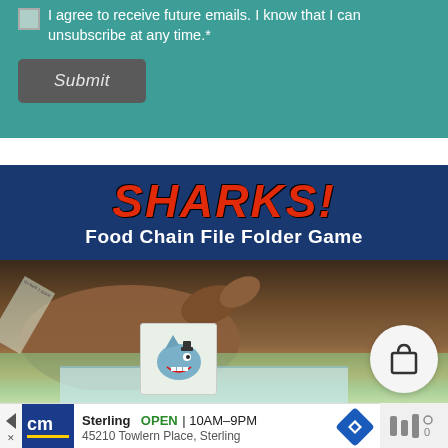I agree to receive future emails. I know that I can unsubscribe at any time.*
Submit
[Figure (illustration): SHARKS! Food Chain File Folder Game promotional image showing a blue banner with red italic bold SHARKS! title and white subtitle 'Food Chain File Folder Game', below which is a photo of a hand pointing at a game board with a shark character card]
Sterling  OPEN | 10AM–9PM  45210 Towlern Place, Sterling